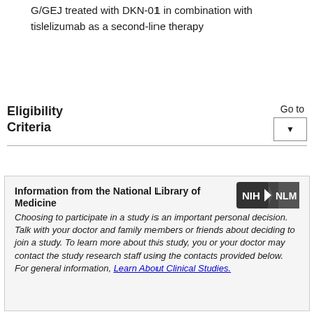G/GEJ treated with DKN-01 in combination with tislelizumab as a second-line therapy
Eligibility Criteria
Go to [dropdown]
Information from the National Library of Medicine
Choosing to participate in a study is an important personal decision. Talk with your doctor and family members or friends about deciding to join a study. To learn more about this study, you or your doctor may contact the study research staff using the contacts provided below. For general information, Learn About Clinical Studies.